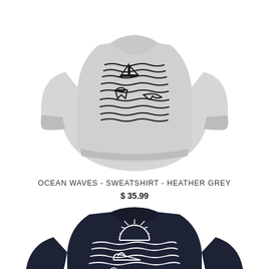[Figure (photo): Grey heather crewneck sweatshirt with ocean waves and whale/sailboat graphic on the chest]
OCEAN WAVES - SWEATSHIRT - HEATHER GREY
$ 35.99
[Figure (photo): Navy blue crewneck sweatshirt with ocean waves, sun, whale graphic in white on the chest]